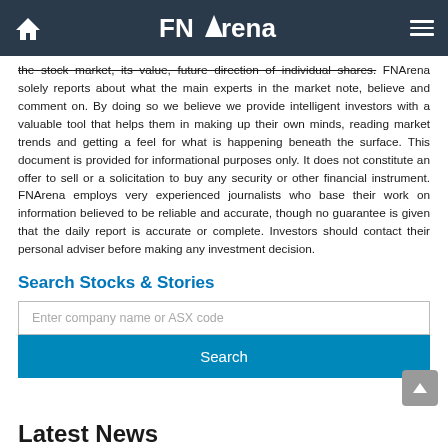FNArena
the stock market, its value, future direction of individual shares. FNArena solely reports about what the main experts in the market note, believe and comment on. By doing so we believe we provide intelligent investors with a valuable tool that helps them in making up their own minds, reading market trends and getting a feel for what is happening beneath the surface. This document is provided for informational purposes only. It does not constitute an offer to sell or a solicitation to buy any security or other financial instrument. FNArena employs very experienced journalists who base their work on information believed to be reliable and accurate, though no guarantee is given that the daily report is accurate or complete. Investors should contact their personal adviser before making any investment decision.
Search Stocks & Stories
Enter company name or ASX code
Search
Latest News